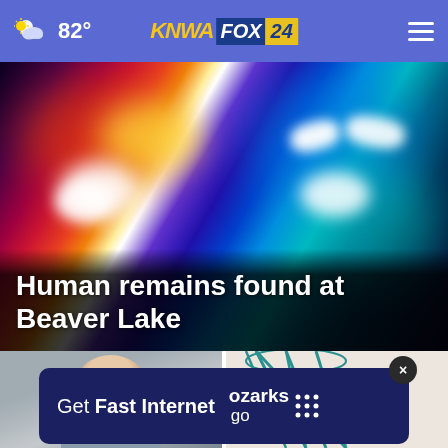82° KNWA FOX24
[Figure (photo): Blurred police emergency lights in red, orange, blue, and teal colors — a news story hero image]
Human remains found at Beaver Lake
[Figure (photo): Headshot of an older person with gray hair against a gray background]
[Figure (illustration): Geometric teal line art illustration on a beige background]
[Figure (infographic): Advertisement banner: Get Fast Internet — ozarks go with dotted grid logo]